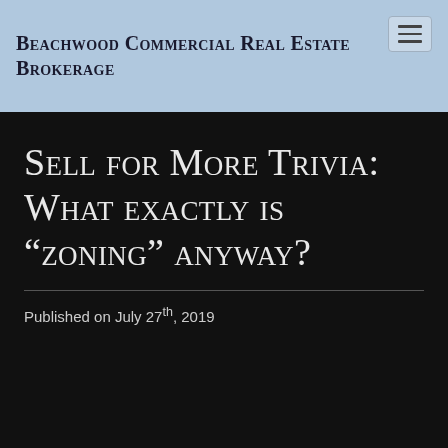Beachwood Commercial Real Estate Brokerage
Sell for More Trivia: What exactly is “zoning” anyway?
Published on July 27th, 2019